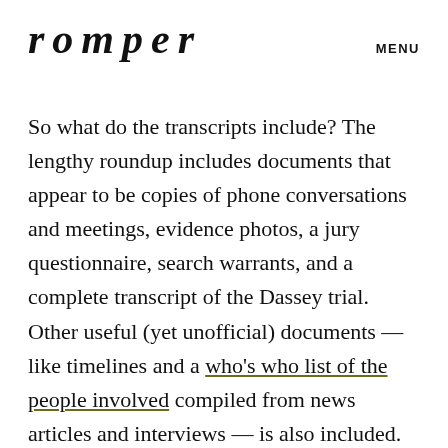romper   MENU
So what do the transcripts include? The lengthy roundup includes documents that appear to be copies of phone conversations and meetings, evidence photos, a jury questionnaire, search warrants, and a complete transcript of the Dassey trial. Other useful (yet unofficial) documents — like timelines and a who's who list of the people involved compiled from news articles and interviews — is also included.